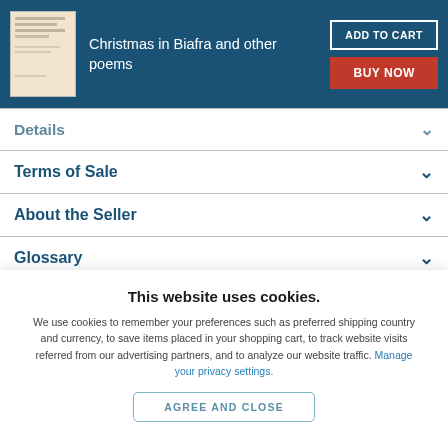Christmas in Biafra and other poems
Details
Terms of Sale
About the Seller
Glossary
Frequently asked questions
This website uses cookies.
We use cookies to remember your preferences such as preferred shipping country and currency, to save items placed in your shopping cart, to track website visits referred from our advertising partners, and to analyze our website traffic. Manage your privacy settings.
AGREE AND CLOSE